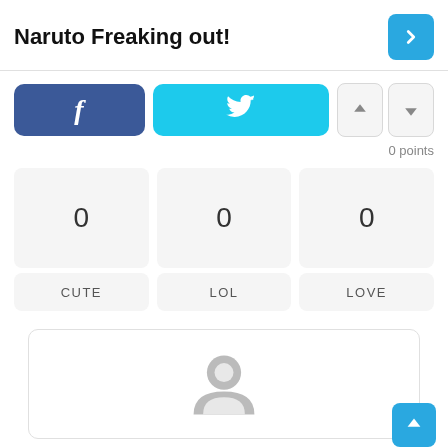Naruto Freaking out!
[Figure (screenshot): Facebook share button (dark blue rounded rectangle with 'f' icon)]
[Figure (screenshot): Twitter share button (cyan rounded rectangle with bird icon)]
[Figure (screenshot): Upvote and downvote arrow buttons, light grey rounded rectangles]
0 points
0
0
0
CUTE
LOL
LOVE
[Figure (photo): User avatar placeholder — grey silhouette of a person on white background inside a rounded rectangle card]